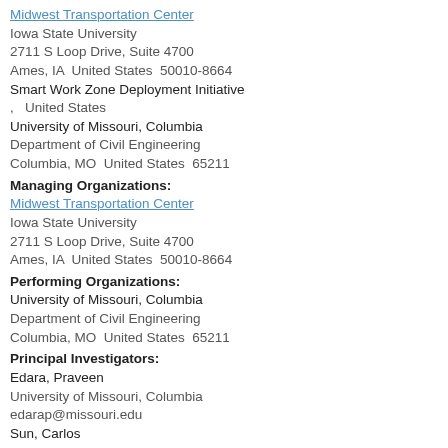Midwest Transportation Center
Iowa State University
2711 S Loop Drive, Suite 4700
Ames, IA  United States  50010-8664
Smart Work Zone Deployment Initiative
,   United States
University of Missouri, Columbia
Department of Civil Engineering
Columbia, MO  United States  65211
Managing Organizations:
Midwest Transportation Center
Iowa State University
2711 S Loop Drive, Suite 4700
Ames, IA  United States  50010-8664
Performing Organizations:
University of Missouri, Columbia
Department of Civil Engineering
Columbia, MO  United States  65211
Principal Investigators:
Edara, Praveen
University of Missouri, Columbia
edarap@missouri.edu
Sun, Carlos